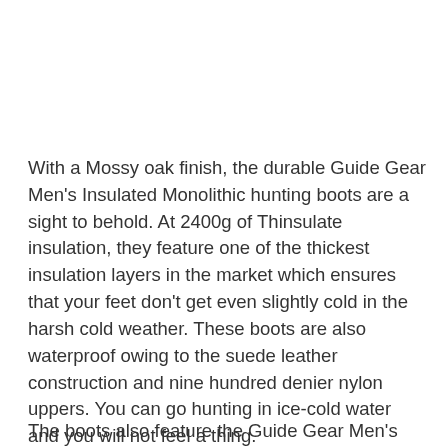With a Mossy oak finish, the durable Guide Gear Men's Insulated Monolithic hunting boots are a sight to behold. At 2400g of Thinsulate insulation, they feature one of the thickest insulation layers in the market which ensures that your feet don't get even slightly cold in the harsh cold weather. These boots are also waterproof owing to the suede leather construction and nine hundred denier nylon uppers. You can go hunting in ice-cold water and you will not feel a thing.
The boots also feature the Guide Gear Men's...